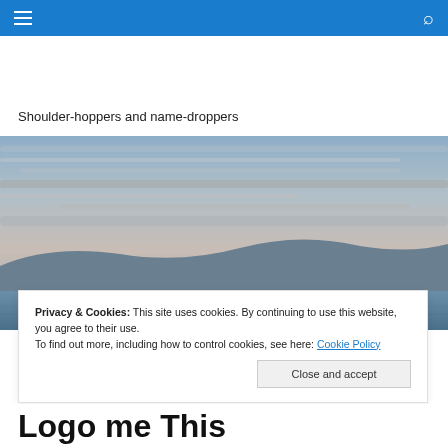navigation bar with hamburger menu and search icon
Shoulder-hoppers and name-droppers
[Figure (photo): Landscape photo showing a calm seascape or lakeside at dusk with layers of blue-grey clouds and distant mountains or hills on the horizon]
Privacy & Cookies: This site uses cookies. By continuing to use this website, you agree to their use.
To find out more, including how to control cookies, see here: Cookie Policy
Close and accept
Logo me This